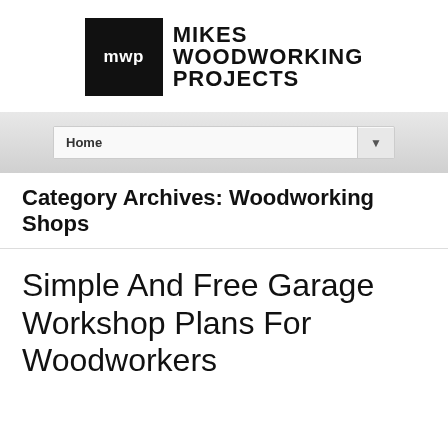[Figure (logo): Mikes Woodworking Projects logo with black square containing 'mwp' text and bold company name]
Home
Category Archives: Woodworking Shops
Simple And Free Garage Workshop Plans For Woodworkers